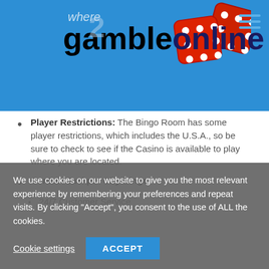[Figure (logo): Where2GambleOnline logo with red dice on blue background header]
Player Restrictions: The Bingo Room has some player restrictions, which includes the U.S.A., so be sure to check to see if the Casino is available to play where you are located.
Contact Jackpot City Bingo
24/7 Customer Service
We use cookies on our website to give you the most relevant experience by remembering your preferences and repeat visits. By clicking “Accept”, you consent to the use of ALL the cookies.
Cookie settings   ACCEPT